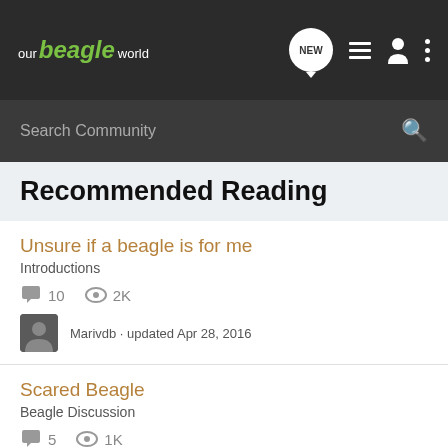our beagle world — NEW, list, profile, more
Search Community
Recommended Reading
Unsure if a beagle is for me
Introductions
10 comments  2K views
Marivdb · updated Apr 28, 2016
Scared Beagle
Beagle Discussion
5 comments  1K views
Ivy Houston · updated Sep 15, 2008